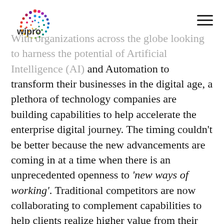Wipro logo and navigation menu
With organizations across the globe looking to harness the potential of Artificial Intelligence (AI) and Automation to transform their businesses in the digital age, a plethora of technology companies are building capabilities to help accelerate the enterprise digital journey. The timing couldn't be better because the new advancements are coming in at a time when there is an unprecedented openness to 'new ways of working'. Traditional competitors are now collaborating to complement capabilities to help clients realize higher value from their investments. For example, Amazon and Microsoft are collaborating on Gluon, a deep learning library that will help developers build machine learning models more easily and quickly.